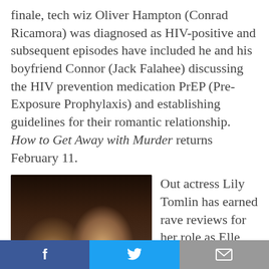finale, tech wiz Oliver Hampton (Conrad Ricamora) was diagnosed as HIV-positive and subsequent episodes have included he and his boyfriend Connor (Jack Falahee) discussing the HIV prevention medication PrEP (Pre-Exposure Prophylaxis) and establishing guidelines for their romantic relationship. How to Get Away with Murder returns February 11.
[Figure (photo): Two women sitting together, one with dark hair and one with curly lighter hair, in a dimly lit indoor setting.]
Out actress Lily Tomlin has earned rave reviews for her role as Elle Reid in Grandma, her first leading film role in 27 years. Elle is a lesbian next coping with the